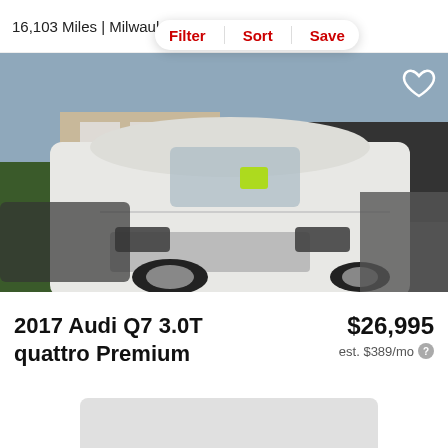16,103 Miles | Milwaukee, WI
Track Price  Che...  Filter  Sort  Save
[Figure (photo): White 2017 Audi Q7 SUV parked at a car dealership lot, front 3/4 view, with other cars visible in the background and a building behind]
2017 Audi Q7 3.0T quattro Premium
$26,995
est. $389/mo